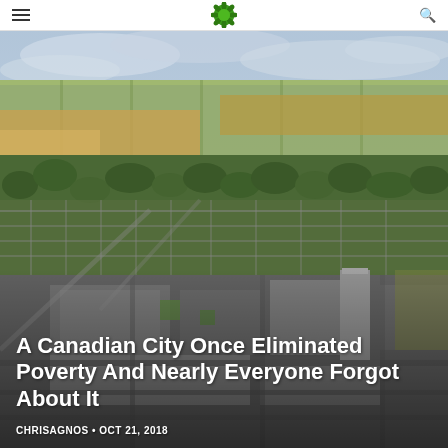[Figure (photo): Aerial photograph of a Canadian city (Dauphin, Manitoba) showing a grid of residential streets lined with trees, commercial downtown area with large buildings and parking lots, and flat agricultural fields extending to the horizon under a cloudy sky.]
A Canadian City Once Eliminated Poverty And Nearly Everyone Forgot About It
CHRISAGNOS • OCT 21, 2018